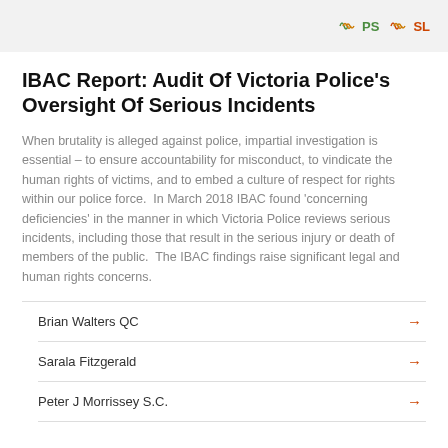PS SL
IBAC Report: Audit Of Victoria Police's Oversight Of Serious Incidents
When brutality is alleged against police, impartial investigation is essential – to ensure accountability for misconduct, to vindicate the human rights of victims, and to embed a culture of respect for rights within our police force.  In March 2018 IBAC found 'concerning deficiencies' in the manner in which Victoria Police reviews serious incidents, including those that result in the serious injury or death of members of the public.  The IBAC findings raise significant legal and human rights concerns.
Brian Walters QC →
Sarala Fitzgerald →
Peter J Morrissey S.C. →